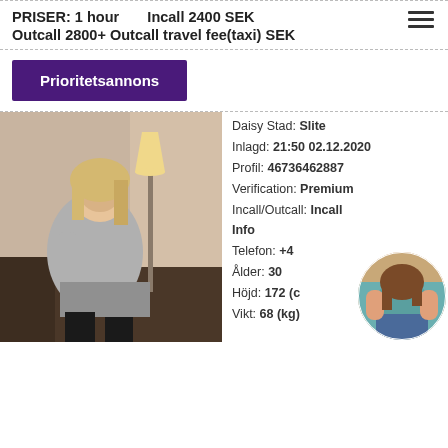PRISER: 1 hour   Incall 2400 SEK
Outcall 2800+ Outcall travel fee(taxi) SEK
Prioritetsannons
[Figure (photo): Woman sitting on a dark couch in a grey sweater and skirt with black stockings, with a lamp in the background]
Daisy Stad: Slite
Inlagd: 21:50 02.12.2020
Profil: 46736462887
Verification: Premium
Incall/Outcall: Incall
Info
Telefon: +4...
Ålder: 30
Höjd: 172 (c...
Vikt: 68 (kg)
[Figure (photo): Circular thumbnail of a woman in teal top and denim shorts]